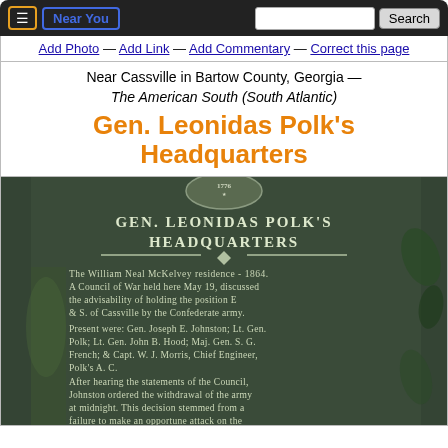≡ Near You | Search
Add Photo — Add Link — Add Commentary — Correct this page
Near Cassville in Bartow County, Georgia — The American South (South Atlantic)
Gen. Leonidas Polk's Headquarters
[Figure (photo): Photograph of a historical marker plaque reading GEN. LEONIDAS POLK'S HEADQUARTERS. The plaque text describes The William Neal McKelvey residence - 1864. A Council of War held here May 19, discussed the advisability of holding the position E & S of Cassville by the Confederate army. Present were: Gen. Joseph E. Johnston; Lt. Gen. Polk; Lt. Gen. John B. Hood; Maj. Gen. S.G. French; & Capt. W.J. Morris, Chief Engineer, Polk's A.C. After hearing the statements of the Council, Johnston ordered the withdrawal of the army at midnight. This decision stemmed from a failure to make an opportune attack on the Federals, & alleged inability to hold a defensive line as it was. The marker has a 1776 medallion at the top.]